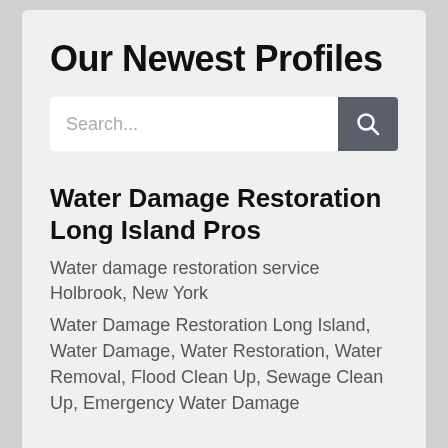Our Newest Profiles
[Figure (other): Search bar with text input placeholder 'Search...' and a dark grey search button with magnifying glass icon]
Water Damage Restoration Long Island Pros
Water damage restoration service
Holbrook, New York
Water Damage Restoration Long Island, Water Damage, Water Restoration, Water Removal, Flood Clean Up, Sewage Clean Up, Emergency Water Damage